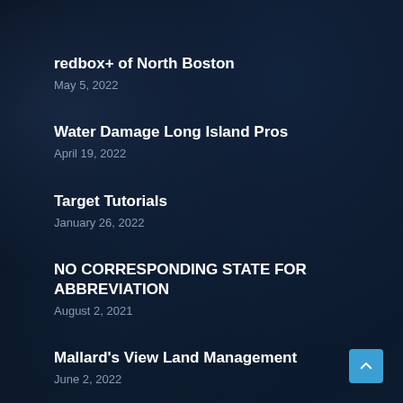redbox+ of North Boston
May 5, 2022
Water Damage Long Island Pros
April 19, 2022
Target Tutorials
January 26, 2022
NO CORRESPONDING STATE FOR ABBREVIATION
August 2, 2021
Mallard's View Land Management
June 2, 2022